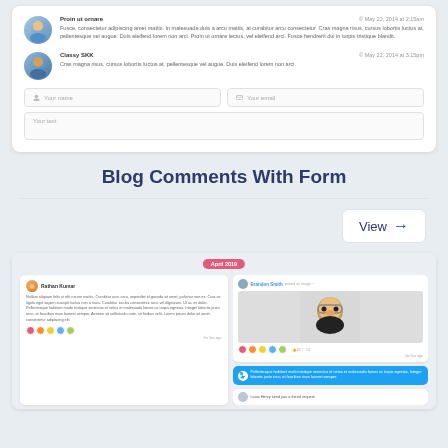[Figure (screenshot): Blog comments UI with avatar, user name, date, comment text, and a form with name, email, and text fields]
Blog Comments With Form
[Figure (screenshot): Social media feed UI with posts, images, reactions, tweet card, and friend request notification]